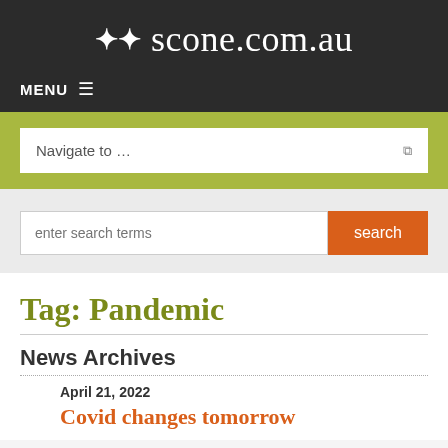scone.com.au
MENU
Navigate to ...
enter search terms  search
Tag: Pandemic
News Archives
April 21, 2022
Covid changes tomorrow